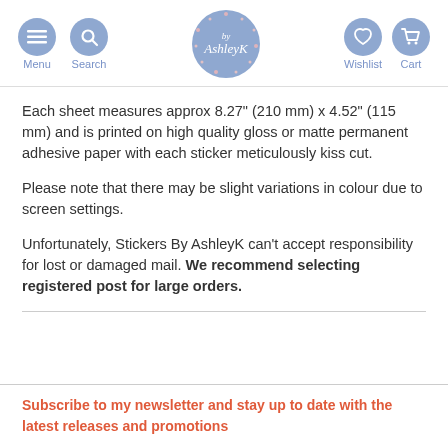Menu  Search  [logo: by AshleyK]  Wishlist  Cart
Each sheet measures approx 8.27" (210 mm) x 4.52" (115 mm) and is printed on high quality gloss or matte permanent adhesive paper with each sticker meticulously kiss cut.
Please note that there may be slight variations in colour due to screen settings.
Unfortunately, Stickers By AshleyK can't accept responsibility for lost or damaged mail. We recommend selecting registered post for large orders.
Subscribe to my newsletter and stay up to date with the latest releases and promotions